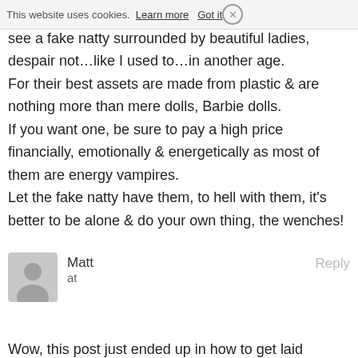This website uses cookies. Learn more  Got it  ×
see a fake natty surrounded by beautiful ladies, despair not…like I used to…in another age.
For their best assets are made from plastic & are nothing more than mere dolls, Barbie dolls.
If you want one, be sure to pay a high price financially, emotionally & energetically as most of them are energy vampires.
Let the fake natty have them, to hell with them, it's better to be alone & do your own thing, the wenches!
Matt
at
Reply
Wow, this post just ended up in how to get laid